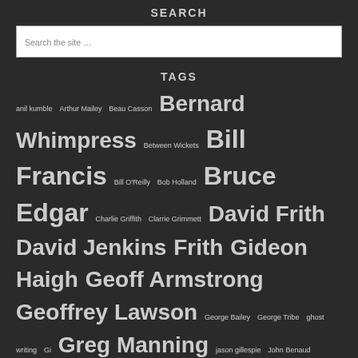SEARCH
Search the site ...
TAGS
anil kumble Arthur Mailey Beau Casson Bernard Whimpress Between Wickets Bill Francis Bill O'Reilly Bob Holland Bruce Edgar Charlie Griffith Clarrie Grimmett David Frith David Jenkins Frith Gideon Haigh Geoff Armstrong Geoffrey Lawson George Bailey George Tribe ghost writing Gi Greg Manning jason gillespie John Benaud Kersi Meher-Homji Laurie Mayne legspin Malcolm Knox MA Noble Martin Crowe Mickey Arthur Mike Coward Muttiah Muralitharan